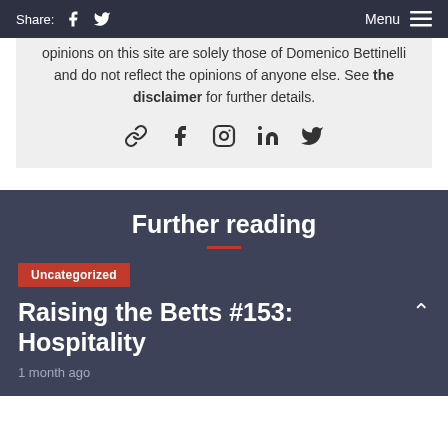Share: [facebook] [twitter]   Menu [hamburger]
opinions on this site are solely those of Domenico Bettinelli and do not reflect the opinions of anyone else. See the disclaimer for further details.
[Figure (infographic): Social media icons: link, facebook, instagram, linkedin, twitter]
Further reading
Uncategorized
Raising the Betts #153: Hospitality
1 month ago